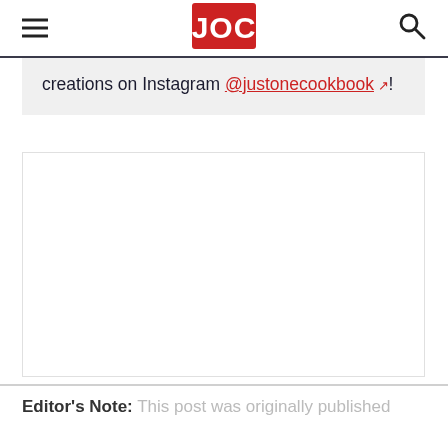JOC (Just One Cookbook) logo with hamburger menu and search icon
creations on Instagram @justonecookbook!
Editor's Note: This post was originally published